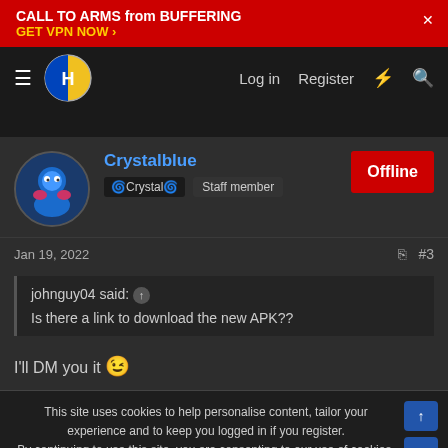CALL TO ARMS from BUFFERING GET VPN NOW >
[Figure (logo): Forum logo circle with blue and yellow halves and letter H]
Log in   Register
Crystalblue
🌀Crystal🌀   Staff member   Offline
Jan 19, 2022   #3
johnguy04 said: ↑
Is there a link to download the new APK??
I'll DM you it 😉
This site uses cookies to help personalise content, tailor your experience and to keep you logged in if you register.
By continuing to use this site, you are consenting to our use of cookies.
Accept   Learn more...